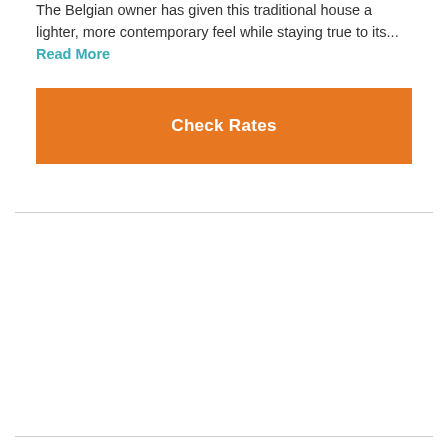The Belgian owner has given this traditional house a lighter, more contemporary feel while staying true to its... Read More
Check Rates